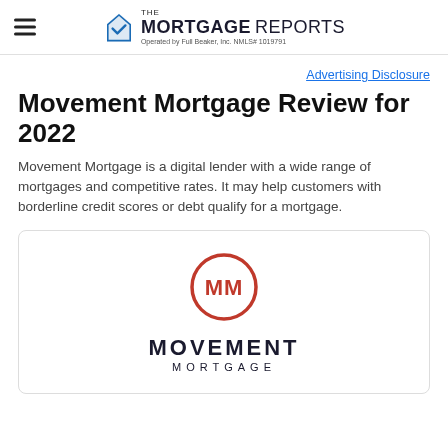THE MORTGAGE REPORTS — Operated by Full Beaker, Inc. NMLS# 1019791
Advertising Disclosure
Movement Mortgage Review for 2022
Movement Mortgage is a digital lender with a wide range of mortgages and competitive rates. It may help customers with borderline credit scores or debt qualify for a mortgage.
[Figure (logo): Movement Mortgage logo — circular badge with MM initials in red, with MOVEMENT MORTGAGE text below]